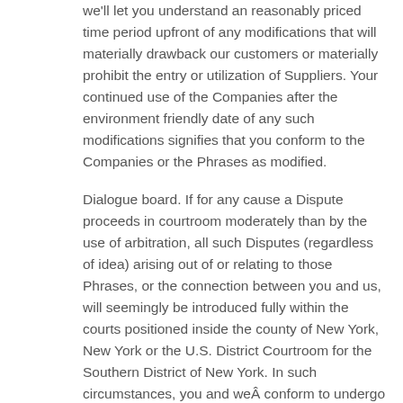we'll let you understand an reasonably priced time period upfront of any modifications that will materially drawback our customers or materially prohibit the entry or utilization of Suppliers. Your continued use of the Companies after the environment friendly date of any such modifications signifies that you conform to the Companies or the Phrases as modified.
Dialogue board. If for any cause a Dispute proceeds in courtroom moderately than by the use of arbitration, all such Disputes (regardless of idea) arising out of or relating to those Phrases, or the connection between you and us, will seemingly be introduced fully within the courts positioned inside the county of New York, New York or the U.S. District Courtroom for the Southern District of New York. In such circumstances, you and weÂ conform to undergo the personal jurisdiction of the courts positioned all through the county of New York, New York or the Southern District of New York, and